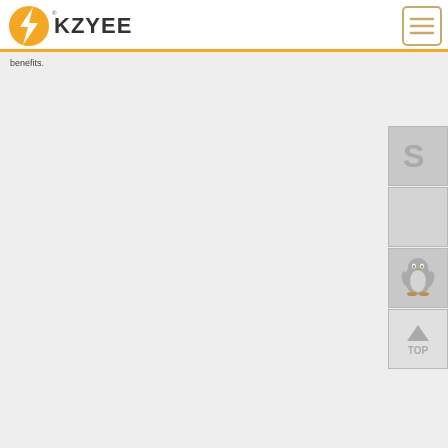[Figure (logo): KZYEE logo with orange lightning bolt icon and text KZYEE]
[Figure (other): Hamburger menu button with three horizontal lines, bordered box]
benefits.
[Figure (other): Right sidebar with Skype icon, blank box, QQ penguin icon, and TOP scroll-to-top button]